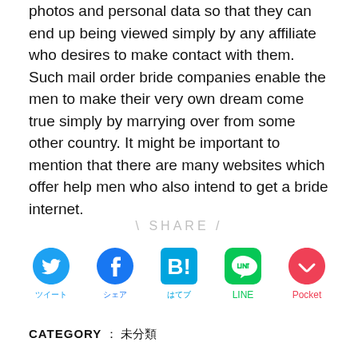photos and personal data so that they can end up being viewed simply by any affiliate who desires to make contact with them. Such mail order bride companies enable the men to make their very own dream come true simply by marrying over from some other country. It might be important to mention that there are many websites which offer help men who also intend to get a bride internet.
\ SHARE /
[Figure (infographic): Social share buttons: Twitter, Facebook, Hatena Bookmark, LINE, Pocket with icons and labels in respective brand colors]
CATEGORY : 未分類